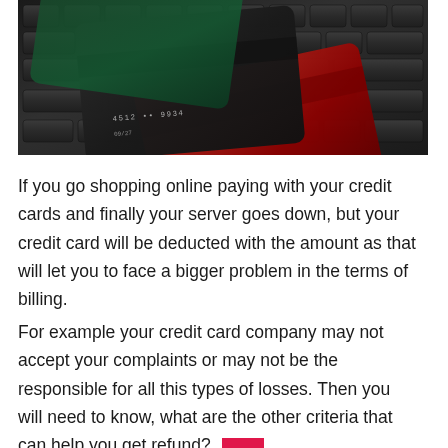[Figure (photo): Credit cards (black and red) resting on a dark keyboard, close-up photograph]
If you go shopping online paying with your credit cards and finally your server goes down, but your credit card will be deducted with the amount as that will let you to face a bigger problem in the terms of billing.
For example your credit card company may not accept your complaints or may not be the responsible for all this types of losses. Then you will need to know, what are the other criteria that can help you get refund?